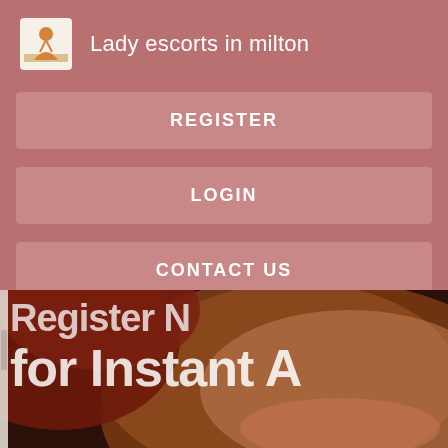[Figure (screenshot): App logo icon — small square icon with figure on light background]
Lady escorts in milton
REGISTER
LOGIN
CONTACT US
[Figure (photo): Close-up photo of a smiling woman with red hair, with overlaid text reading 'Register N... for Instant A']